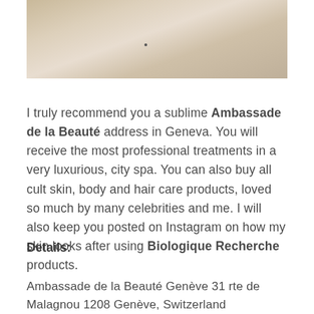[Figure (photo): Close-up photo of beige/cream colored surfaces or packaging, abstract geometric angles in neutral tones]
I truly recommend you a sublime Ambassade de la Beauté address in Geneva. You will receive the most professional treatments in a very luxurious, city spa. You can also buy all cult skin, body and hair care products, loved so much by many celebrities and me. I will also keep you posted on Instagram on how my skin looks after using Biologique Recherche products.
Details:
Ambassade de la Beauté Genève 31 rte de Malagnou 1208 Genève, Switzerland